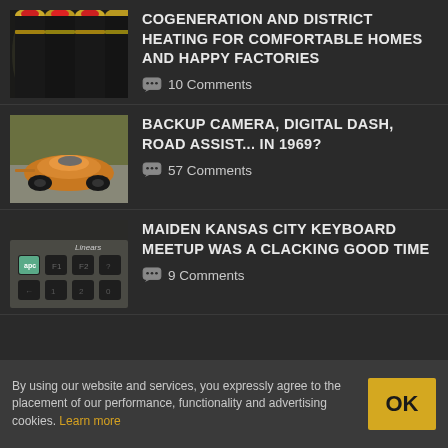[Figure (photo): Close-up of industrial pipes with red and yellow end caps on dark background]
COGENERATION AND DISTRICT HEATING FOR COMFORTABLE HOMES AND HAPPY FACTORIES
💬 10 Comments
[Figure (photo): Futuristic orange sports car racing on a track, 1969 era]
BACKUP CAMERA, DIGITAL DASH, ROAD ASSIST... IN 1969?
💬 57 Comments
[Figure (photo): Close-up of vintage keyboard with black keys, Linears label visible]
MAIDEN KANSAS CITY KEYBOARD MEETUP WAS A CLACKING GOOD TIME
💬 9 Comments
By using our website and services, you expressly agree to the placement of our performance, functionality and advertising cookies. Learn more